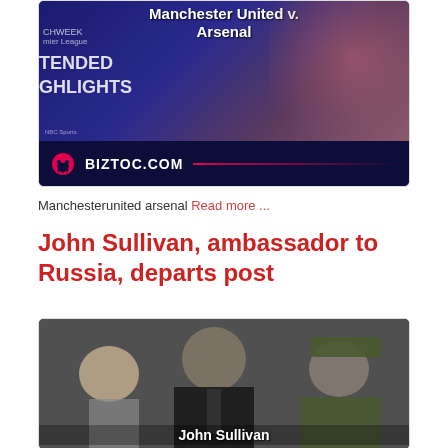[Figure (screenshot): Manchester United v. Arsenal extended highlights video thumbnail with Biztoc.com branding bar at bottom]
Manchesterunited arsenal Read more ...
John Sullivan, ambassador to Russia, departs post
[Figure (photo): Photo of John Sullivan with blurred people including woman on left and military officer on right]